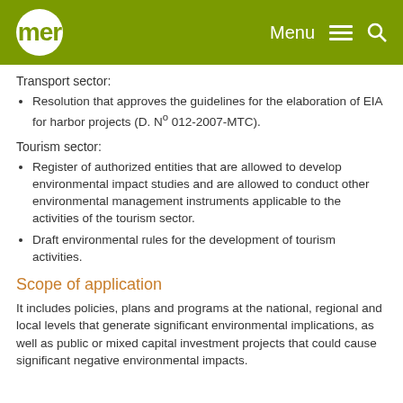mer | Menu | Search
Transport sector:
Resolution that approves the guidelines for the elaboration of EIA for harbor projects (D. Nº 012-2007-MTC).
Tourism sector:
Register of authorized entities that are allowed to develop environmental impact studies and are allowed to conduct other environmental management instruments applicable to the activities of the tourism sector.
Draft environmental rules for the development of tourism activities.
Scope of application
It includes policies, plans and programs at the national, regional and local levels that generate significant environmental implications, as well as public or mixed capital investment projects that could cause significant negative environmental impacts.